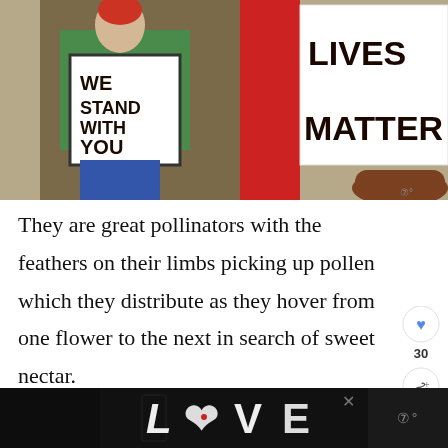[Figure (illustration): Painting showing two figures holding signs. Left sign reads 'WE STAND WITH YOU', right sign reads 'LIVES MATTER'. One figure wears a green shirt, there is a red curtain/background, and a brown hand is visible on the right.]
They are great pollinators with the feathers on their limbs picking up pollen which they distribute as they hover from one flower to the next in search of sweet nectar.
[Figure (other): UI overlay elements: heart/like button, share button with count 30, and 'WHAT'S NEXT' panel showing '26 Common Bees in...']
[Figure (other): Bottom advertisement banner showing decorative 'LOVE' text artwork on black background with close button X]